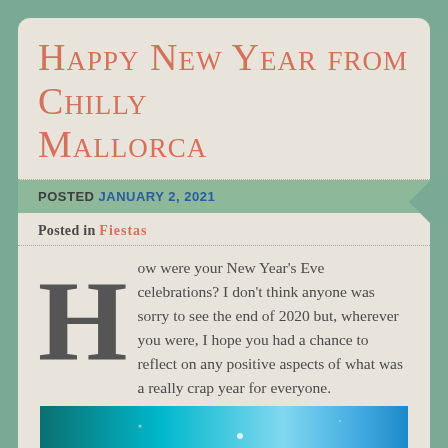Happy New Year from Chilly Mallorca
POSTED JANUARY 2, 2021
Posted in Fiestas
How were your New Year's Eve celebrations? I don't think anyone was sorry to see the end of 2020 but, wherever you were, I hope you had a chance to reflect on any positive aspects of what was a really crap year for everyone.
[Figure (photo): Partial view of a blue-toned night sky or fireworks photo at the bottom of the page]